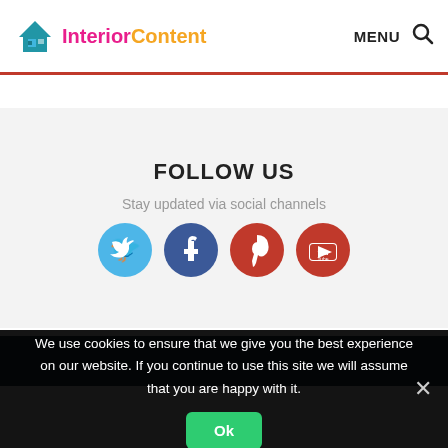[Figure (logo): InteriorContent website logo with house icon, pink 'Interior' and yellow 'Content' text]
MENU  🔍
FOLLOW US
Stay updated via social channels
[Figure (illustration): Four social media icons in circles: Twitter (blue), Facebook (dark blue), Pinterest (red), YouTube (red)]
We use cookies to ensure that we give you the best experience on our website. If you continue to use this site we will assume that you are happy with it.